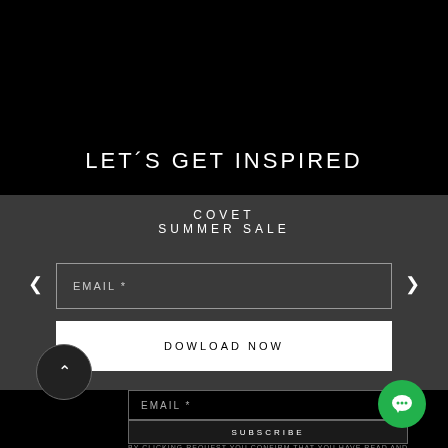LET´S GET INSPIRED
COVET
SUMMER SALE
EMAIL *
DOWLOAD NOW
EMAIL *
SUBSCRIBE
BY CLICKING REQUEST YOU CONFIRM THAT YOU HAVE READ AND